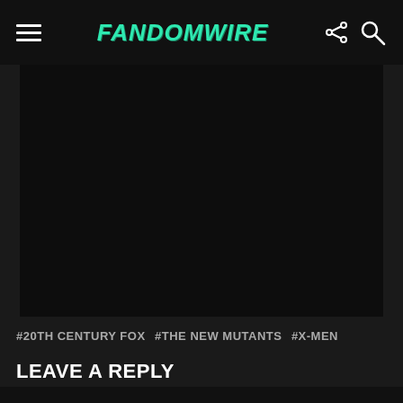FandomWire
[Figure (photo): Dark/black image area, content not visible]
#20TH CENTURY FOX  #THE NEW MUTANTS  #X-MEN
LEAVE A REPLY